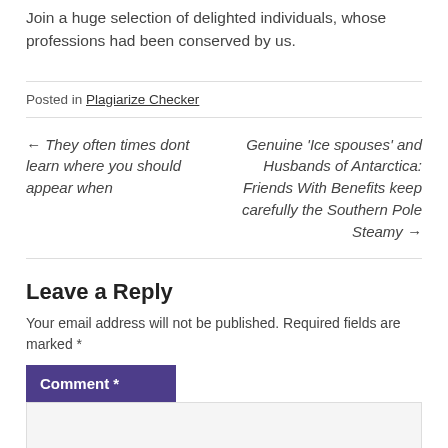Join a huge selection of delighted individuals, whose professions had been conserved by us.
Posted in Plagiarize Checker
← They often times dont learn where you should appear when
Genuine 'Ice spouses' and Husbands of Antarctica: Friends With Benefits keep carefully the Southern Pole Steamy →
Leave a Reply
Your email address will not be published. Required fields are marked *
Comment *